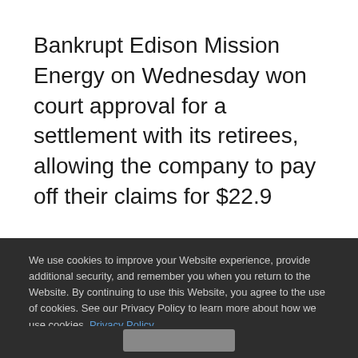Bankrupt Edison Mission Energy on Wednesday won court approval for a settlement with its retirees, allowing the company to pay off their claims for $22.9 million, or less than a third of what the retirees demanded.
In a brief order, U.S. Bankruptcy Judge
We use cookies to improve your Website experience, provide additional security, and remember you when you return to the Website. By continuing to use this Website, you agree to the use of cookies. See our Privacy Policy to learn more about how we use cookies. Privacy Policy